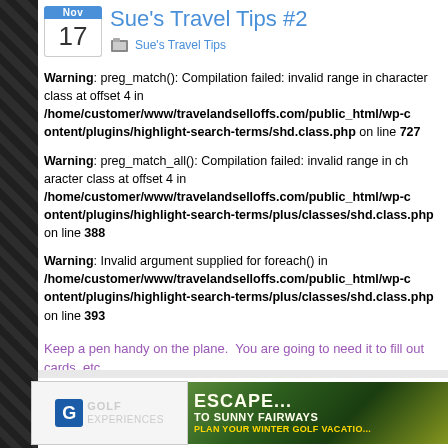Sue's Travel Tips #2
Sue's Travel Tips
Warning: preg_match(): Compilation failed: invalid range in character class at offset 4 in /home/customer/www/travelandselloffs.com/public_html/wp-content/plugins/highlight-search-terms/shd.class.php on line 727
Warning: preg_match_all(): Compilation failed: invalid range in character class at offset 4 in /home/customer/www/travelandselloffs.com/public_html/wp-content/plugins/highlight-search-terms/shd.class.php on line 388
Warning: Invalid argument supplied for foreach() in /home/customer/www/travelandselloffs.com/public_html/wp-content/plugins/highlight-search-terms/shd.class.php on line 393
Keep a pen handy on the plane.  You are going to need it to fill out declaration papers, cards, etc.
Tags: declaration papers, pen
[Figure (logo): Golf Experiences logo with blue G icon]
[Figure (photo): Escape to Sunny Fairways - Plan Your Winter Golf Vacation advertisement with green golf course background]